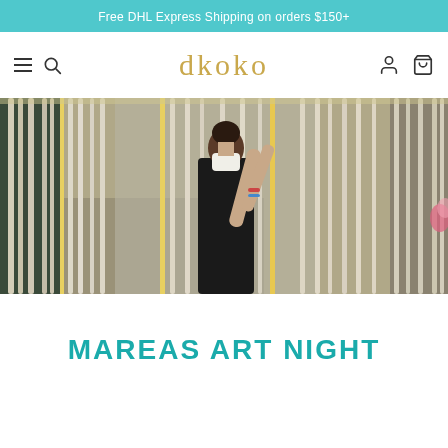Free DHL Express Shipping on orders $150+
[Figure (logo): dkoko brand logo in gold/yellow serif font]
[Figure (photo): Woman wearing black top and white mask browsing hanging floral/pearl garland strands in a boutique store]
MAREAS ART NIGHT